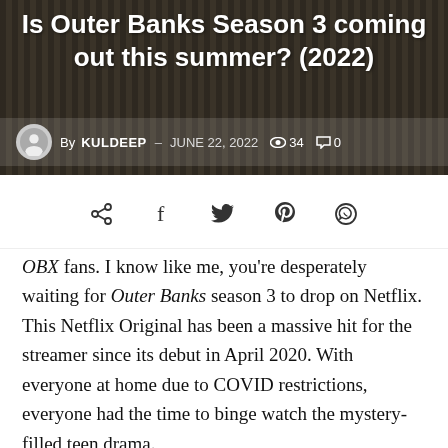Is Outer Banks Season 3 coming out this summer? (2022)
By KULDEEP – JUNE 22, 2022  👁 34  🗨 0
[Figure (infographic): Social share icons: share, facebook, twitter, pinterest, whatsapp]
OBX fans. I know like me, you're desperately waiting for Outer Banks season 3 to drop on Netflix. This Netflix Original has been a massive hit for the streamer since its debut in April 2020. With everyone at home due to COVID restrictions, everyone had the time to binge watch the mystery-filled teen drama.
The show only got better with its second season, and I'm sure the third will be just as great! At the